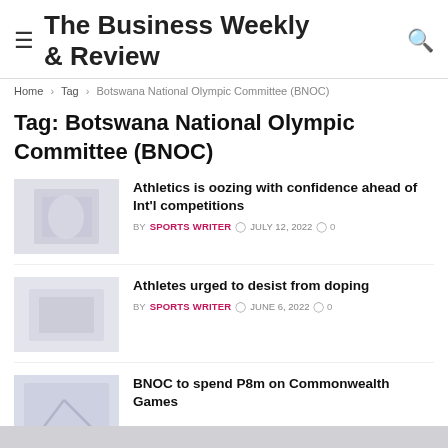The Business Weekly & Review
Home › Tag › Botswana National Olympic Committee (BNOC)
Tag: Botswana National Olympic Committee (BNOC)
Athletics is oozing with confidence ahead of Int'l competitions
BY SPORTS WRITER  JULY 12, 2022  0
Athletes urged to desist from doping
BY SPORTS WRITER  JUNE 6, 2022  0
BNOC to spend P8m on Commonwealth Games